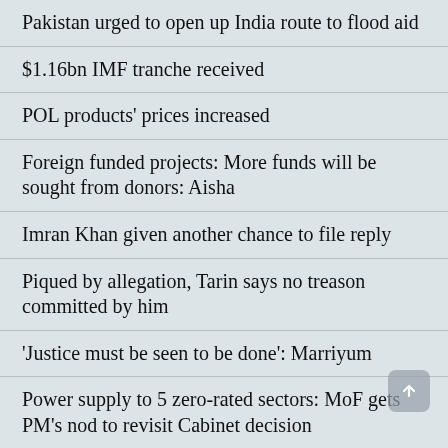Pakistan urged to open up India route to flood aid
$1.16bn IMF tranche received
POL products' prices increased
Foreign funded projects: More funds will be sought from donors: Aisha
Imran Khan given another chance to file reply
Piqued by allegation, Tarin says no treason committed by him
'Justice must be seen to be done': Marriyum
Power supply to 5 zero-rated sectors: MoF gets PM's nod to revisit Cabinet decision
Constitutionality of Section 7E of IT Ord, 2001: LHC is questioning of the law by Bench to continue